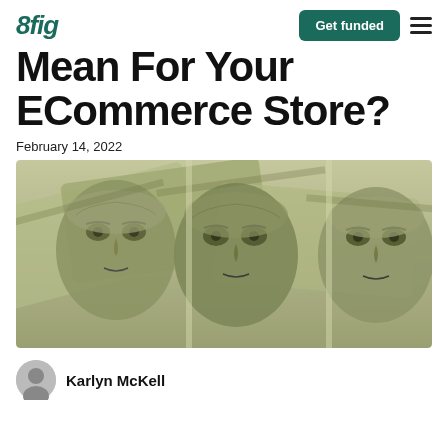8fig | Get funded
Mean For Your ECommerce Store?
February 14, 2022
[Figure (photo): Close-up photograph of multiple US $100 bills fanned out, showing Benjamin Franklin's portrait in green-tinted monochrome style]
Karlyn McKell